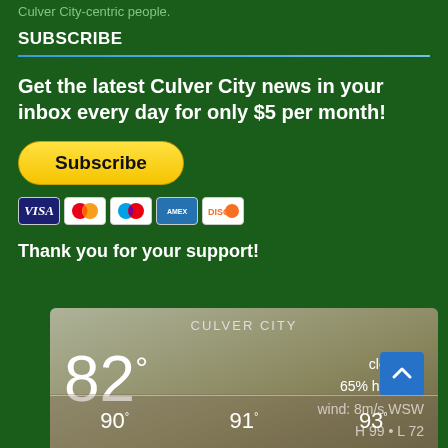Culver City-centric people.
SUBSCRIBE
Get the latest Culver City news in your inbox every day for only $5 per month!
[Figure (other): PayPal Subscribe button with payment card icons: VISA, Mastercard, Maestro, American Express, Discover]
Thank you for your support!
[Figure (other): Weather widget for Culver City showing 82° temperature, clear sky, 65% humidity, wind: 8m/s WSW, H 99 • L 72, with forecast showing 90°, 91°, 93°]